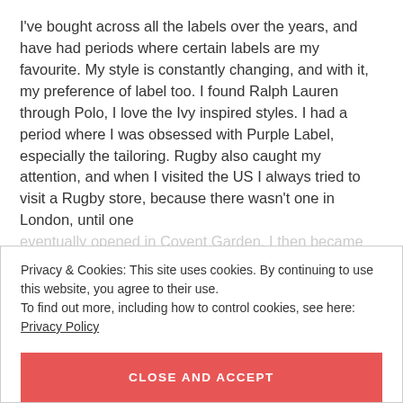I've bought across all the labels over the years, and have had periods where certain labels are my favourite. My style is constantly changing, and with it, my preference of label too. I found Ralph Lauren through Polo, I love the Ivy inspired styles. I had a period where I was obsessed with Purple Label, especially the tailoring. Rugby also caught my attention, and when I visited the US I always tried to visit a Rugby store, because there wasn't one in London, until one eventually opened in Covent Garden. I then became
Privacy & Cookies: This site uses cookies. By continuing to use this website, you agree to their use.
To find out more, including how to control cookies, see here: Privacy Policy
CLOSE AND ACCEPT